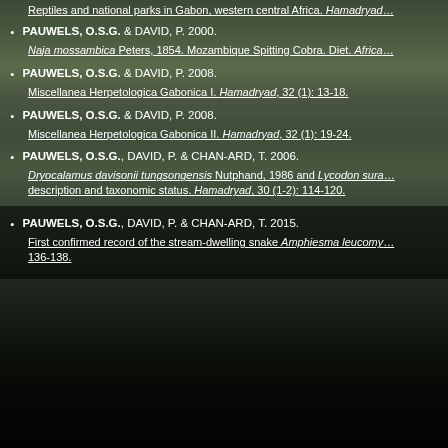PAUWELS, O.S.G., CHRISTY, P. & HONOREZ, A. 2000. Reptiles and national parks in Gabon, western central Africa. Hamadryad…
PAUWELS, O.S.G. & DAVID, P. 2000. Naja mossambica Peters, 1854. Mozambique Spitting Cobra. Diet. Africa…
PAUWELS, O.S.G. & DAVID, P. 2008. Miscellanea Herpetologica Gabonica I. Hamadryad, 32 (1): 13-18.
PAUWELS, O.S.G. & DAVID, P. 2008. Miscellanea Herpetologica Gabonica II. Hamadryad, 32 (1): 19-24.
PAUWELS, O.S.G., DAVID, P. & CHAN-ARD, T. 2006. Dryocalamus davisonii tungsongensis Nutphand, 1986 and Lycodon sura… description and taxonomic status. Hamadryad, 30 (1-2): 114-120.
PAUWELS, O.S.G., DAVID, P. & CHAN-ARD, T. 2015. First confirmed record of the stream-dwelling snake Amphiesma leucomy… 136-138.